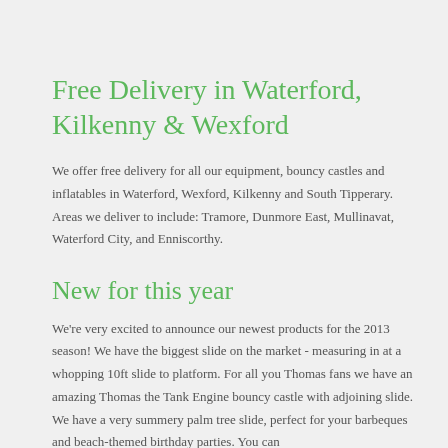Free Delivery in Waterford, Kilkenny & Wexford
We offer free delivery for all our equipment, bouncy castles and inflatables in Waterford, Wexford, Kilkenny and South Tipperary. Areas we deliver to include: Tramore, Dunmore East, Mullinavat, Waterford City, and Enniscorthy.
New for this year
We're very excited to announce our newest products for the 2013 season! We have the biggest slide on the market - measuring in at a whopping 10ft slide to platform. For all you Thomas fans we have an amazing Thomas the Tank Engine bouncy castle with adjoining slide. We have a very summery palm tree slide, perfect for your barbeques and beach-themed birthday parties. You can